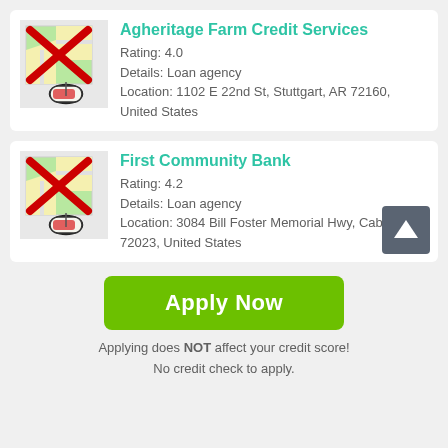Agheritage Farm Credit Services
Rating: 4.0
Details: Loan agency
Location: 1102 E 22nd St, Stuttgart, AR 72160, United States
First Community Bank
Rating: 4.2
Details: Loan agency
Location: 3084 Bill Foster Memorial Hwy, Cabot, AR 72023, United States
Apply Now
Applying does NOT affect your credit score!
No credit check to apply.